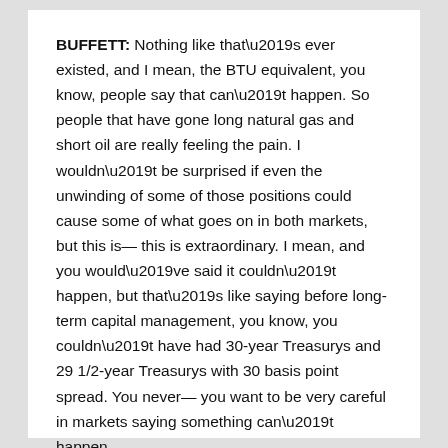BUFFETT: Nothing like that’s ever existed, and I mean, the BTU equivalent, you know, people say that can’t happen. So people that have gone long natural gas and short oil are really feeling the pain. I wouldn’t be surprised if even the unwinding of some of those positions could cause some of what goes on in both markets, but this is— this is extraordinary. I mean, and you would’ve said it couldn’t happen, but that’s like saying before long-term capital management, you know, you couldn’t have had 30-year Treasurys and 29 1/2-year Treasurys with 30 basis point spread. You never— you want to be very careful in markets saying something can’t happen.
BECKY: In your annual letter, you actually said that you had guessed wrong on where natural gas prices were going to be headed and that